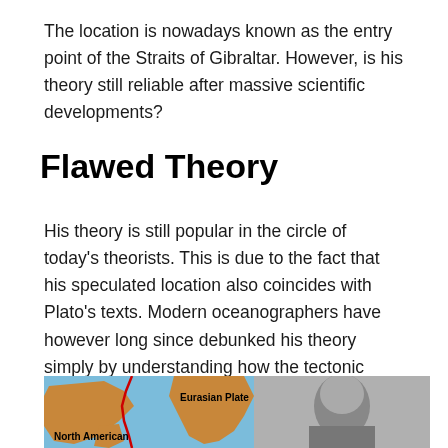The location is nowadays known as the entry point of the Straits of Gibraltar. However, is his theory still reliable after massive scientific developments?
Flawed Theory
His theory is still popular in the circle of today's theorists. This is due to the fact that his speculated location also coincides with Plato's texts. Modern oceanographers have however long since debunked his theory simply by understanding how the tectonic plates work and move.
[Figure (map): A world map showing tectonic plates with the North American Plate and Eurasian Plate labeled, alongside a black-and-white historical portrait photograph.]